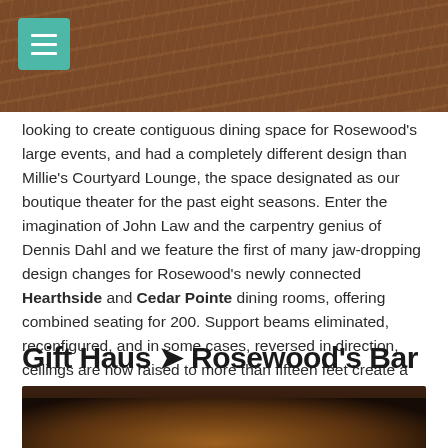[Figure (photo): Decorative wood-grain texture banner header with a teal/green hamburger menu button in the top-left corner]
looking to create contiguous dining space for Rosewood's large events, and had a completely different design than Millie's Courtyard Lounge, the space designated as our boutique theater for the past eight seasons. Enter the imagination of John Law and the carpentry genius of Dennis Dahl and we feature the first of many jaw-dropping design changes for Rosewood's newly connected Hearthside and Cedar Pointe dining rooms, offering combined seating for 200. Support beams eliminated, reconfigured, and in some cases, reversed in direction, ceilings are now raised to more than fifteen feet create a breathtaking crown through uplighting, featuring restored beams. The original brick firewall has been cut to encompass a large custom door framing the shared foyer. Stay tuned for even more crazy changes featured in future blogs.
Gift Haus ➤ Rosewood's Bar
[Figure (photo): Partial bottom edge of a dark interior photo, showing warm amber/orange lighting against a dark brown background]